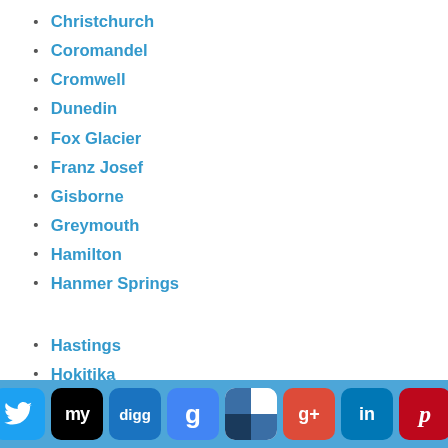Christchurch
Coromandel
Cromwell
Dunedin
Fox Glacier
Franz Josef
Gisborne
Greymouth
Hamilton
Hanmer Springs
Hastings
Hokitika
Invercargill
Kaikoura
Ke…
[Figure (screenshot): Social media sharing toolbar with icons for Facebook, Twitter, MySpace, Digg, Google, Delicious, Google+, LinkedIn, Pinterest, and an expand arrow button]